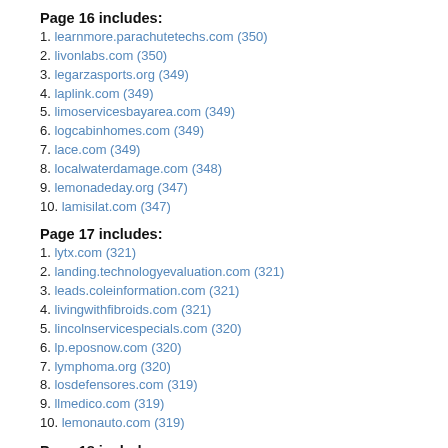Page 16 includes:
1. learnmore.parachutetechs.com (350)
2. livonlabs.com (350)
3. legarzasports.org (349)
4. laplink.com (349)
5. limoservicesbayarea.com (349)
6. logcabinhomes.com (349)
7. lace.com (349)
8. localwaterdamage.com (348)
9. lemonadeday.org (347)
10. lamisilat.com (347)
Page 17 includes:
1. lytx.com (321)
2. landing.technologyevaluation.com (321)
3. leads.coleinformation.com (321)
4. livingwithfibroids.com (321)
5. lincolnservicespecials.com (320)
6. lp.eposnow.com (320)
7. lymphoma.org (320)
8. losdefensores.com (319)
9. llmedico.com (319)
10. lemonauto.com (319)
Page 18 includes:
1. libertyelectricproducts.com (304)
2. limo-lasvegas.com (303)
3. longokura.com (303)
4. lionard.com (303)
5. lovinga.com (302)
6. libertydumpster-nyc.com (302)
7. logos.com (302)
8. ljbtc.com (302)
9. lbifloral.events.com (302)